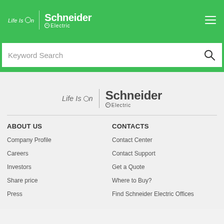[Figure (logo): Schneider Electric header logo with Life Is On tagline on green background, with hamburger menu icon]
[Figure (screenshot): Keyword Search bar with magnifying glass icon]
[Figure (logo): Schneider Electric center logo with Life Is On tagline in gray on light gray background]
ABOUT US
CONTACTS
Company Profile
Contact Center
Careers
Contact Support
Investors
Get a Quote
Share price
Where to Buy?
Press
Find Schneider Electric Offices